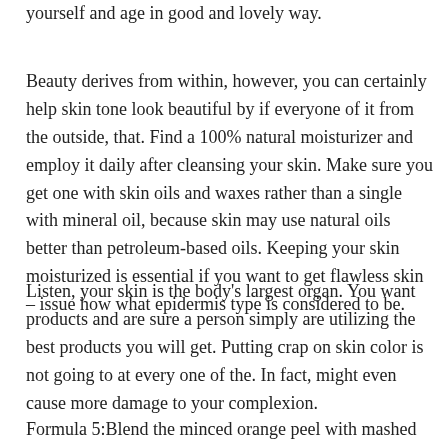yourself and age in good and lovely way.
Beauty derives from within, however, you can certainly help skin tone look beautiful by if everyone of it from the outside, that. Find a 100% natural moisturizer and employ it daily after cleansing your skin. Make sure you get one with skin oils and waxes rather than a single with mineral oil, because skin may use natural oils better than petroleum-based oils. Keeping your skin moisturized is essential if you want to get flawless skin – issue how what epidermis type is considered to be.
Listen, your skin is the body's largest organ. You want products and are sure a person simply are utilizing the best products you will get. Putting crap on skin color is not going to at every one of the. In fact, might even cause more damage to your complexion.
Formula 5:Blend the minced orange peel with mashed almond and warm fluids. Then apply this mask to your face